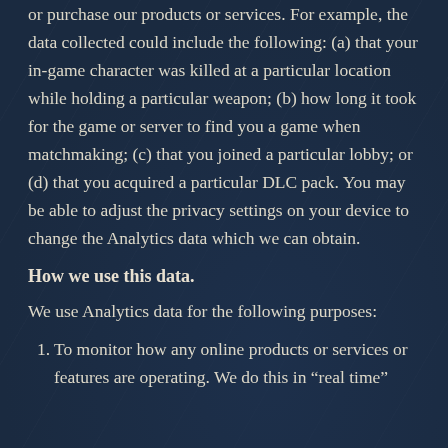or purchase our products or services. For example, the data collected could include the following: (a) that your in-game character was killed at a particular location while holding a particular weapon; (b) how long it took for the game or server to find you a game when matchmaking; (c) that you joined a particular lobby; or (d) that you acquired a particular DLC pack. You may be able to adjust the privacy settings on your device to change the Analytics data which we can obtain.
How we use this data.
We use Analytics data for the following purposes:
To monitor how any online products or services or features are operating. We do this in “real time”